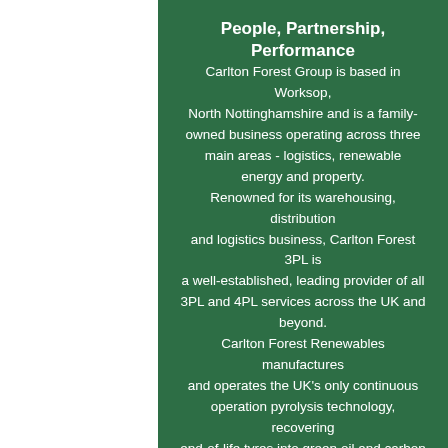People, Partnership, Performance
Carlton Forest Group is based in Worksop, North Nottinghamshire and is a family-owned business operating across three main areas - logistics, renewable energy and property.
Renowned for its warehousing, distribution and logistics business, Carlton Forest 3PL is a well-established, leading provider of all 3PL and 4PL services across the UK and beyond.
Carlton Forest Renewables manufactures and operates the UK's only continuous operation pyrolysis technology, recovering end-of-life tyres into green oil and carbon